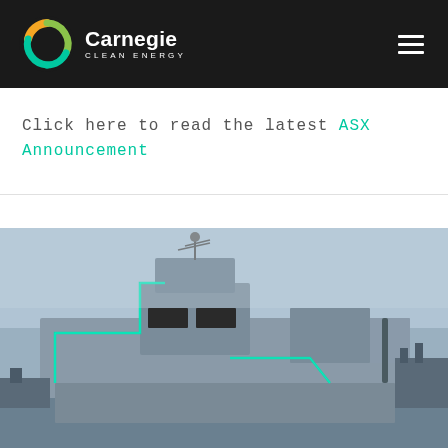[Figure (logo): Carnegie Clean Energy logo — circular C icon in orange/green/teal on black background, with 'Carnegie' in white bold text and 'CLEAN ENERGY' in white small caps beneath]
Click here to read the latest ASX Announcement
[Figure (photo): Photograph of a large grey naval/marine vessel or barge docked at a port, with a teal/cyan glowing outline highlight around part of the structure, under an overcast grey sky]